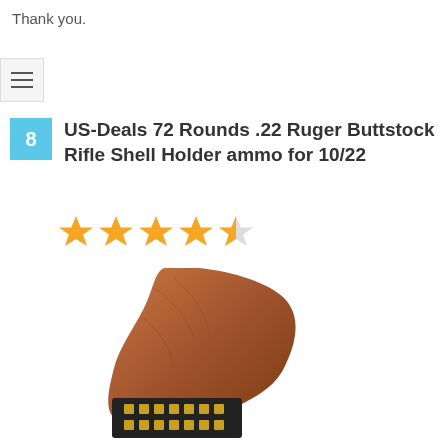Thank you.
[Figure (illustration): Hamburger menu icon button with three horizontal lines on light gray background]
US-Deals 72 Rounds .22 Ruger Buttstock Rifle Shell Holder ammo for 10/22
[Figure (illustration): 4.5 star rating shown as golden stars]
[Figure (photo): Product photo showing a wooden rifle buttstock with black elastic shell holder attached, containing gold-colored ammunition loops]